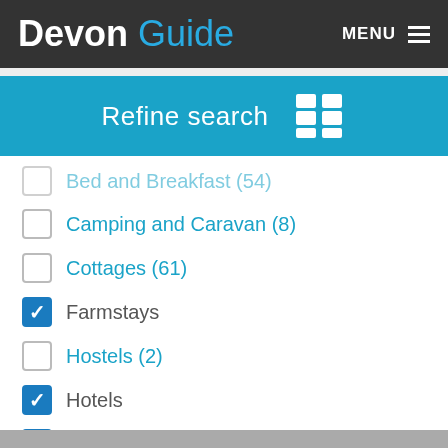Devon Guide — MENU
Refine search
Bed and Breakfast (54)
Camping and Caravan (8)
Cottages (61)
Farmstays (checked)
Hostels (2)
Hotels (checked)
Inns (checked)